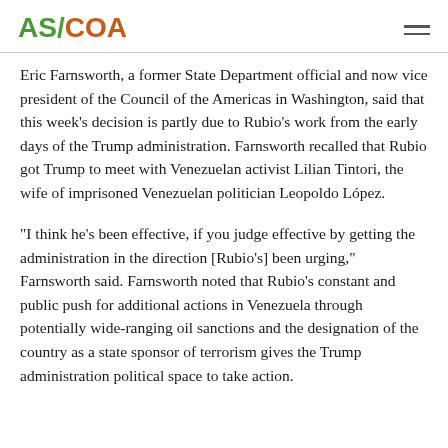AS/COA
Eric Farnsworth, a former State Department official and now vice president of the Council of the Americas in Washington, said that this week’s decision is partly due to Rubio’s work from the early days of the Trump administration. Farnsworth recalled that Rubio got Trump to meet with Venezuelan activist Lilian Tintori, the wife of imprisoned Venezuelan politician Leopoldo López.
“I think he’s been effective, if you judge effective by getting the administration in the direction [Rubio’s] been urging,” Farnsworth said. Farnsworth noted that Rubio’s constant and public push for additional actions in Venezuela through potentially wide-ranging oil sanctions and the designation of the country as a state sponsor of terrorism gives the Trump administration political space to take action.